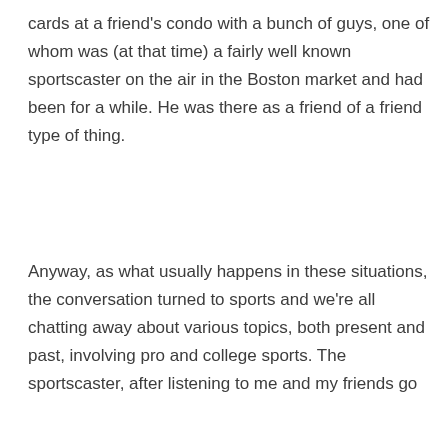cards at a friend's condo with a bunch of guys, one of whom was (at that time) a fairly well known sportscaster on the air in the Boston market and had been for a while. He was there as a friend of a friend type of thing.
Anyway, as what usually happens in these situations, the conversation turned to sports and we're all chatting away about various topics, both present and past, involving pro and college sports. The sportscaster, after listening to me and my friends go